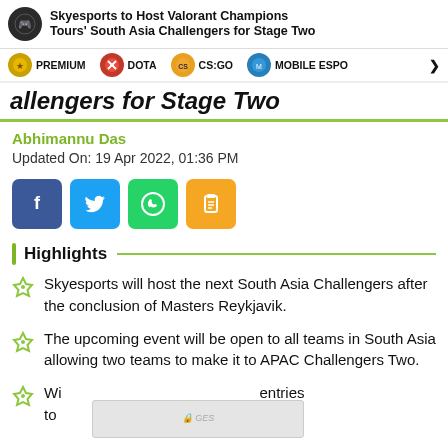Skyesports to Host Valorant Champions Tours' South Asia Challengers for Stage Two
PREMIUM | DOTA | CS:GO | MOBILE ESPO>
allengers for Stage Two
Abhimannu Das
Updated On: 19 Apr 2022, 01:36 PM
[Figure (infographic): Social share buttons: Facebook, Twitter, WhatsApp, Copy]
Highlights
Skyesports will host the next South Asia Challengers after the conclusion of Masters Reykjavik.
The upcoming event will be open to all teams in South Asia allowing two teams to make it to APAC Challengers Two.
Wi entries to